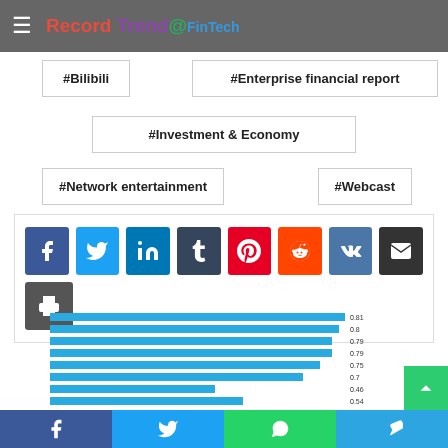Record Trend @ FinTech
#Bilibili
#Enterprise financial report
#Investment & Economy
#Network entertainment
#Webcast
[Figure (infographic): Social share buttons: Facebook, Twitter, LinkedIn, Tumblr, Pinterest, Reddit, VK, Email, Print]
[Figure (bar-chart): Partial horizontal bar chart visible at bottom of page with values 0.81, 0.8, 0.79, 0.79, 0.75, 0.7, 0.46, 0.54]
Facebook | Twitter | WhatsApp | Telegram